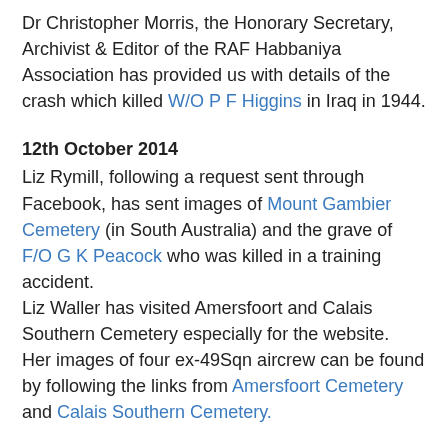Dr Christopher Morris, the Honorary Secretary, Archivist & Editor of the RAF Habbaniya Association has provided us with details of the crash which killed W/O P F Higgins in Iraq in 1944.
12th October 2014
Liz Rymill, following a request sent through Facebook, has sent images of Mount Gambier Cemetery (in South Australia) and the grave of F/O G K Peacock who was killed in a training accident.
Liz Waller has visited Amersfoort and Calais Southern Cemetery especially for the website.
Her images of four ex-49Sqn aircrew can be found by following the links from Amersfoort Cemetery and Calais Southern Cemetery.
11th October 2014
Thanks to the generous support of Daniel Kiggins who now lives in Yangon (Rangoon) in Myanmar (Burma) we